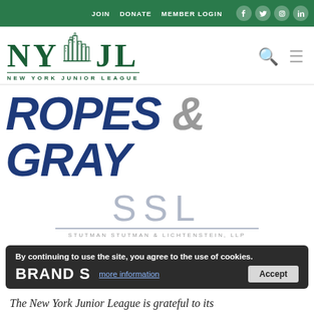JOIN  DONATE  MEMBER LOGIN
[Figure (logo): New York Junior League logo with NYJL letters and city skyline graphic]
[Figure (logo): Ropes & Gray law firm logo in large bold italic type, blue and gray]
[Figure (logo): SSL Stutman Stutman & Lichtenstein, LLP logo with horizontal line]
By continuing to use the site, you agree to the use of cookies.
BRAND S
The New York Junior League is grateful to its